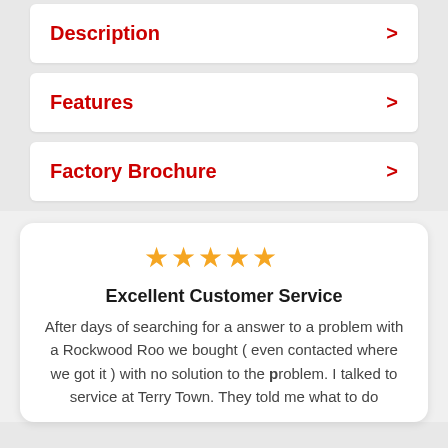Description
Features
Factory Brochure
[Figure (other): Five gold star rating icons]
Excellent Customer Service
After days of searching for a answer to a problem with a Rockwood Roo we bought ( even contacted where we got it ) with no solution to the problem. I talked to service at Terry Town. They told me what to do